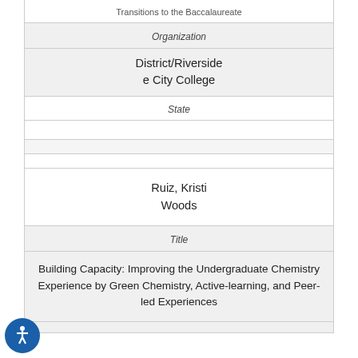| Transitions to the Baccalaureate |
| Organization |
| District/Riverside City College |
| State |
|  |
|  |
| Ruiz, Kristi
Woods |
| Title |
| Building Capacity: Improving the Undergraduate Chemistry Experience by Green Chemistry, Active-learning, and Peer-led Experiences |